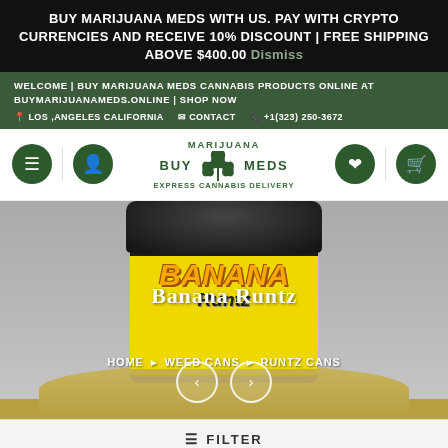BUY MARIJUANA MEDS WITH US. PAY WITH CRYPTO CURRENCIES AND RECEIVE 10% DISCOUNT | FREE SHIPPING ABOVE $400.00 Dismiss
WELCOME | BUY MARIJUANA MEDS CANNABIS PRODUCTS ONLINE AT BUYMARIJUANAMEDS.ONLINE | SHOP NOW
LOS ,ANGELES CALIFORNIA   CONTACT   +1(323) 250-3672
[Figure (logo): Buy Marijuana Meds logo with cannabis leaf, text: MARIJUANA, BUY MEDS, EXPRESS CANNABIS DELIVERY]
[Figure (photo): Photo of a yellow Banana Runtz cannabis weed can/jar with black lid and herb visible at base]
Banana Runtz
HOME > WEED CANS > RUNTZ CANS
≡ FILTER